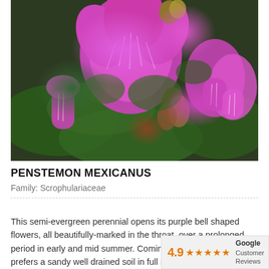[Figure (photo): Close-up photograph of Penstemon mexicanus flowers showing vivid purple/magenta bell-shaped blooms with white striped markings in the throat, surrounded by green leaves and buds, against a dark background.]
PENSTEMON MEXICANUS
Family: Scrophulariaceae
This semi-evergreen perennial opens its purple bell shaped flowers, all beautifully-marked in the throat, over a prolonged period in early and mid summer. Coming from prefers a sandy well drained soil in full sun or